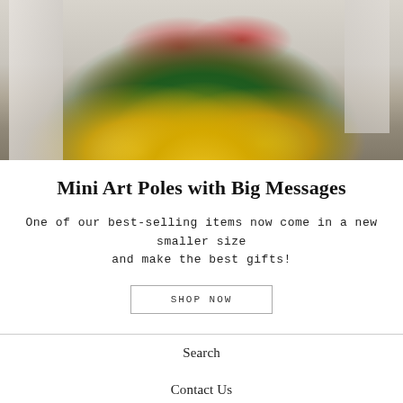[Figure (photo): A photo of decorative art poles with inspirational messages placed in a flower pot with yellow and red flowers and green foliage on a table, with a blurred living room background.]
Mini Art Poles with Big Messages
One of our best-selling items now come in a new smaller size and make the best gifts!
SHOP NOW
Search
Contact Us
Store Policies